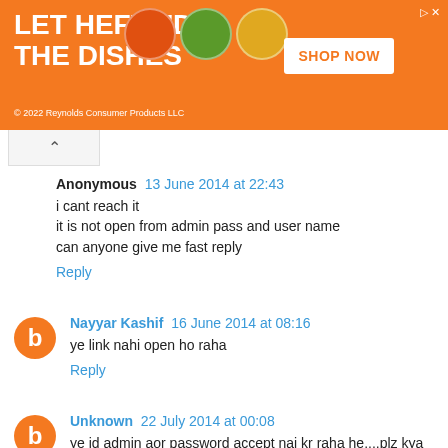[Figure (photo): Advertisement banner for Hefty dish products on orange background with text 'LET HEFTY DO THE DISHES', product images, and 'SHOP NOW' button]
Anonymous 13 June 2014 at 22:43
i cant reach it
it is not open from admin pass and user name
can anyone give me fast reply
Reply
Nayyar Kashif 16 June 2014 at 08:16
ye link nahi open ho raha
Reply
Unknown 22 July 2014 at 00:08
ye id admin aor password accept nai kr raha he....plz kya